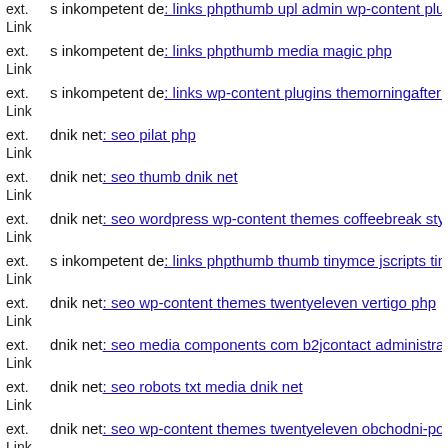ext. Link s inkompetent de: links phpthumb upl admin wp-content plugin
ext. Link s inkompetent de: links phpthumb media magic php
ext. Link s inkompetent de: links wp-content plugins themorningafter js
ext. Link dnik net: seo pilat php
ext. Link dnik net: seo thumb dnik net
ext. Link dnik net: seo wordpress wp-content themes coffeebreak style c
ext. Link s inkompetent de: links phpthumb thumb tinymce jscripts tiny
ext. Link dnik net: seo wp-content themes twentyeleven vertigo php
ext. Link dnik net: seo media components com b2jcontact administrator
ext. Link dnik net: seo robots txt media dnik net
ext. Link dnik net: seo wp-content themes twentyeleven obchodni-podm
ext. Link dnik net: seo media systemmjzqz wp-admin setup-config php